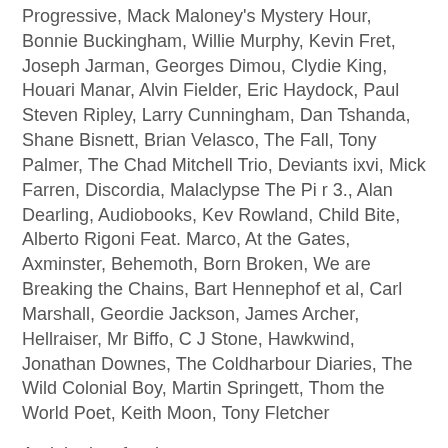Progressive, Mack Maloney's Mystery Hour, Bonnie Buckingham, Willie Murphy, Kevin Fret, Joseph Jarman, Georges Dimou, Clydie King, Houari Manar, Alvin Fielder, Eric Haydock, Paul Steven Ripley, Larry Cunningham, Dan Tshanda, Shane Bisnett, Brian Velasco, The Fall, Tony Palmer, The Chad Mitchell Trio, Deviants ixvi, Mick Farren, Discordia, Malaclypse The Pi r 3., Alan Dearling, Audiobooks, Kev Rowland, Child Bite, Alberto Rigoni Feat. Marco, At the Gates, Axminster, Behemoth, Born Broken, We are Breaking the Chains, Bart Hennephof et al, Carl Marshall, Geordie Jackson, James Archer, Hellraiser, Mr Biffo, C J Stone, Hawkwind, Jonathan Downes, The Coldharbour Diaries, The Wild Colonial Boy, Martin Springett, Thom the World Poet, Keith Moon, Tony Fletcher
And the last few issues are:
Issue 321-22 (Discordianism)
https://www.flipsnack.com/9FE5CEE9E8C/gonzo-321-2.html
Issue 319-20 (Brix Smith)
https://www.flipsnack.com/9FE5CEE9E8C/gonzo-319-20.html